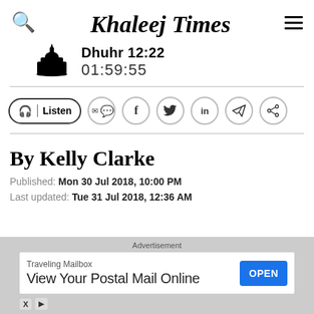Khaleej Times
Dhuhr 12:22
01:59:55
[Figure (infographic): Social sharing toolbar with Listen button, WhatsApp, Facebook, Twitter, LinkedIn, Telegram, and Share icons]
By Kelly Clarke
Published: Mon 30 Jul 2018, 10:00 PM
Last updated: Tue 31 Jul 2018, 12:36 AM
[Figure (infographic): Advertisement banner: Traveling Mailbox - View Your Postal Mail Online with OPEN button]